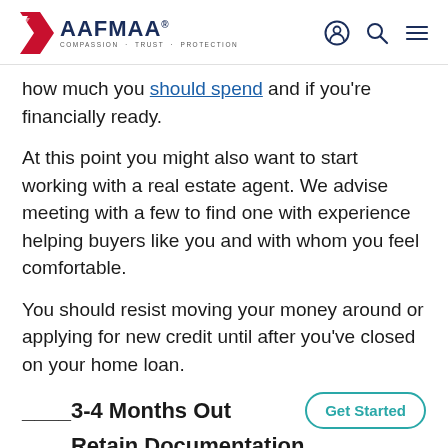AAFMAA — COMPASSION · TRUST · PROTECTION
how much you should spend and if you're financially ready.
At this point you might also want to start working with a real estate agent. We advise meeting with a few to find one with experience helping buyers like you and with whom you feel comfortable.
You should resist moving your money around or applying for new credit until after you've closed on your home loan.
____3-4 Months Out
____Retain Documentation